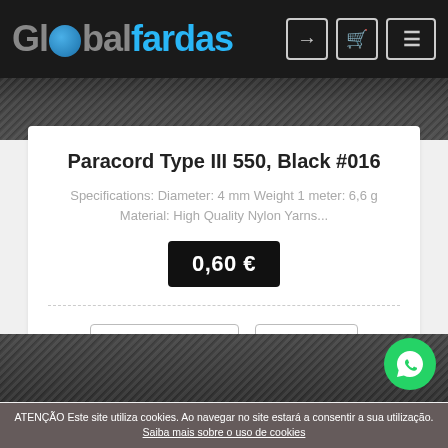[Figure (logo): GlobalFardas logo with globe icon, white/grey and cyan text on dark navbar]
[Figure (photo): Close-up photo of black paracord texture at top of card]
Paracord Type III 550, Black #016
Specifications: Diameter: 4 mm Weight 1 meter: 6,6 g Material: High Quality Nylon Yarns...
0,60 €
COMPRAR
INFO
[Figure (photo): Close-up photo of black paracord texture at bottom of page]
ATENÇÃO Este site utiliza cookies. Ao navegar no site estará a consentir a sua utilização. Saiba mais sobre o uso de cookies